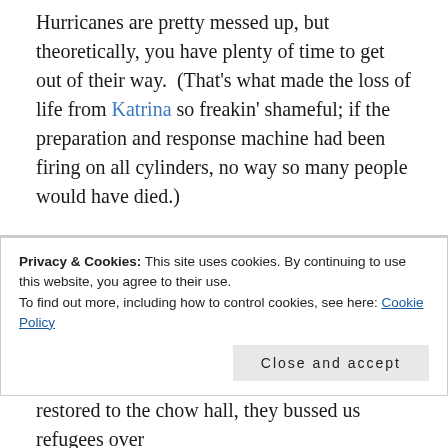Hurricanes are pretty messed up, but theoretically, you have plenty of time to get out of their way. (That's what made the loss of life from Katrina so freakin' shameful; if the preparation and response machine had been firing on all cylinders, no way so many people would have died.)
My most memorable hurricane experience was Hurricane Allen, which struck the gulf coast of Texas in 1980. We lived on the Navy Base in Corpus Christi and when the Navy says there's an evacuation order, it's pretty much non-negotiable. We were herded into the base's movie theatre, and it was all fun and games until the power...
Privacy & Cookies: This site uses cookies. By continuing to use this website, you agree to their use.
To find out more, including how to control cookies, see here: Cookie Policy
Close and accept
restored to the chow hall, they bussed us refugees over